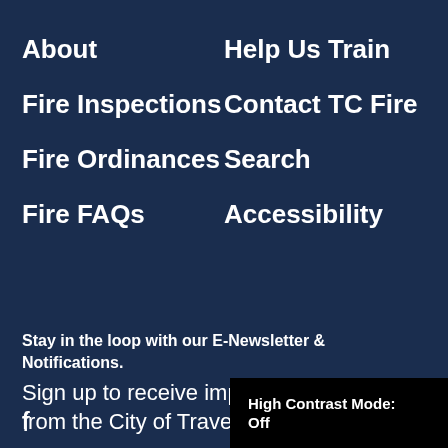About
Help Us Train
Fire Inspections
Contact TC Fire
Fire Ordinances
Search
Fire FAQs
Accessibility
Stay in the loop with our E-Newsletter & Notifications.
Sign up to receive important updates from the City of Traverse City.
Enter Email Address
High Contrast Mode: Off